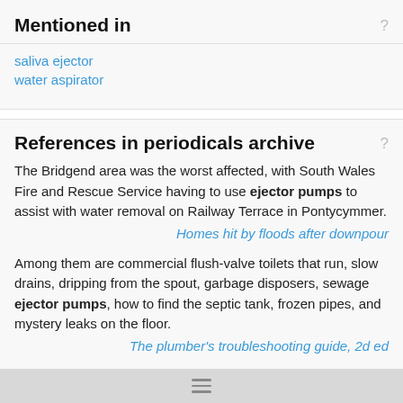Mentioned in
saliva ejector
water aspirator
References in periodicals archive
The Bridgend area was the worst affected, with South Wales Fire and Rescue Service having to use ejector pumps to assist with water removal on Railway Terrace in Pontycymmer.
Homes hit by floods after downpour
Among them are commercial flush-valve toilets that run, slow drains, dripping from the spout, garbage disposers, sewage ejector pumps, how to find the septic tank, frozen pipes, and mystery leaks on the floor.
The plumber's troubleshooting guide, 2d ed
Most sewage ejector pumps and some sump pumps have a floating ball attached to the pump by a separate electrical cord--if you see two cords coming out of the basin, you have a float switch.